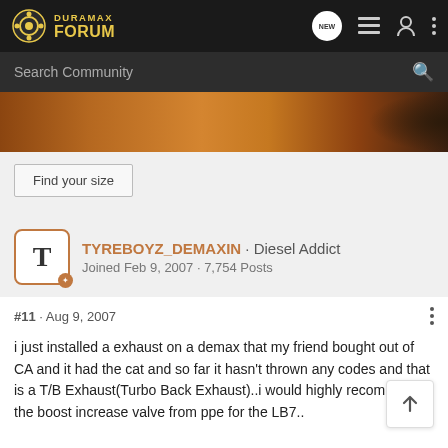[Figure (logo): Duramax Forum logo with gear icon and yellow text]
Search Community
[Figure (photo): Desert landscape banner image with orange/brown sand dunes]
Find your size
TYREBOYZ_DEMAXIN · Diesel Addict
Joined Feb 9, 2007 · 7,754 Posts
#11 · Aug 9, 2007
i just installed a exhaust on a demax that my friend bought out of CA and it had the cat and so far it hasn't thrown any codes and that is a T/B Exhaust(Turbo Back Exhaust)..i would highly recommend the boost increase valve from ppe for the LB7..